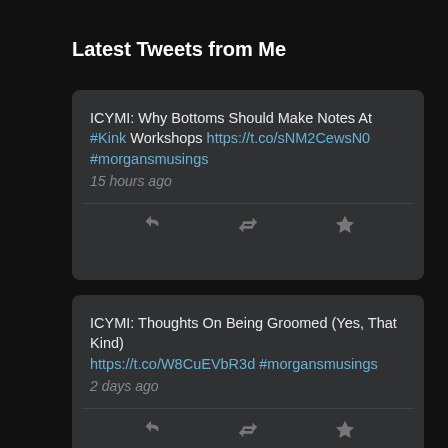Latest Tweets from Me
ICYMI: Why Bottoms Should Make Notes At #Kink Workshops https://t.co/sNM2CewsN0 #morgansmusings
15 hours ago
ICYMI: Thoughts On Being Groomed (Yes, That Kind) https://t.co/W8CuEVbR3d #morgansmusings
2 days ago
ICYMI: Protocol Is Perfect For Me https://t.co/2VXaiZ1355 #kink